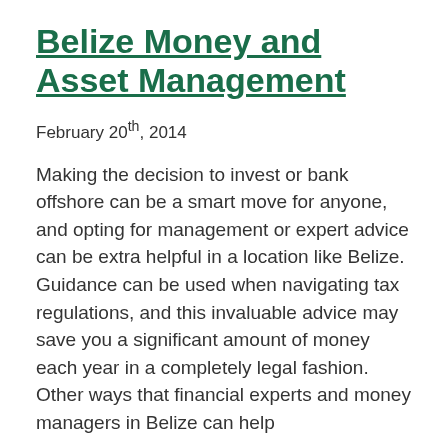Belize Money and Asset Management
February 20th, 2014
Making the decision to invest or bank offshore can be a smart move for anyone, and opting for management or expert advice can be extra helpful in a location like Belize. Guidance can be used when navigating tax regulations, and this invaluable advice may save you a significant amount of money each year in a completely legal fashion. Other ways that financial experts and money managers in Belize can help